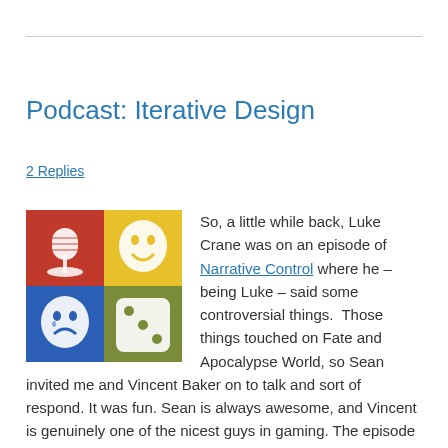Podcast: Iterative Design
2 Replies
[Figure (illustration): Podcast logo with four quadrants: red background with microphone, yellow background with comedy mask, blue background with tragedy mask, green background with dice]
So, a little while back, Luke Crane was on an episode of Narrative Control where he – being Luke – said some controversial things.  Those things touched on Fate and Apocalypse World, so Sean invited me and Vincent Baker on to talk and sort of respond. It was fun. Sean is always awesome, and Vincent is genuinely one of the nicest guys in gaming. The episode has been posted, and